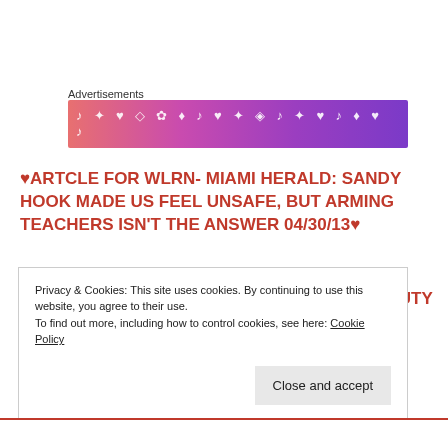Advertisements
[Figure (illustration): Advertisement banner with pink-to-purple gradient background and decorative music/heart icons in white]
♥ARTCLE FOR WLRN- MIAMI HERALD: SANDY HOOK MADE US FEEL UNSAFE, BUT ARMING TEACHERS ISN'T THE ANSWER 04/30/13♥
♥SUN-SENTINEL ARTICLE AS FASHION & BEAUTY EXPERT: LUXURY SHOPPING AT SAWGRASS MILLS OUTLETS 04/14/13♥
Privacy & Cookies: This site uses cookies. By continuing to use this website, you agree to their use.
To find out more, including how to control cookies, see here: Cookie Policy
Close and accept